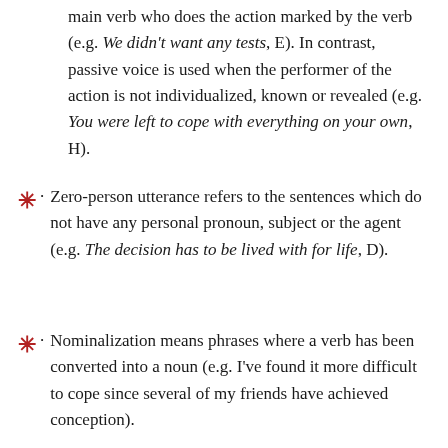main verb who does the action marked by the verb (e.g. We didn't want any tests, E). In contrast, passive voice is used when the performer of the action is not individualized, known or revealed (e.g. You were left to cope with everything on your own, H).
Zero-person utterance refers to the sentences which do not have any personal pronoun, subject or the agent (e.g. The decision has to be lived with for life, D).
Nominalization means phrases where a verb has been converted into a noun (e.g. I've found it more difficult to cope since several of my friends have achieved conception).